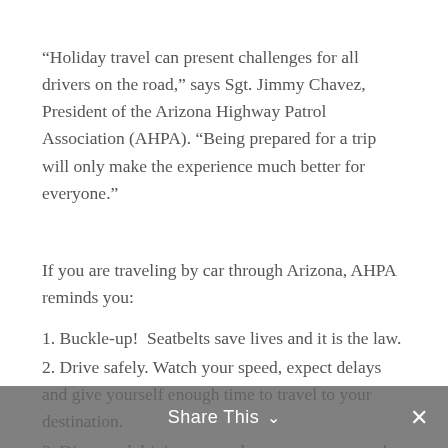“Holiday travel can present challenges for all drivers on the road,” says Sgt. Jimmy Chavez, President of the Arizona Highway Patrol Association (AHPA). “Being prepared for a trip will only make the experience much better for everyone.”
If you are traveling by car through Arizona, AHPA reminds you:
1. Buckle-up!  Seatbelts save lives and it is the law.
2. Drive safely. Watch your speed, expect delays and give yourself enough time to travel to your destination.
3. Distracted driving can endanger everyone on the road. Consider hands-free devices if using your
Share This ∨ ×